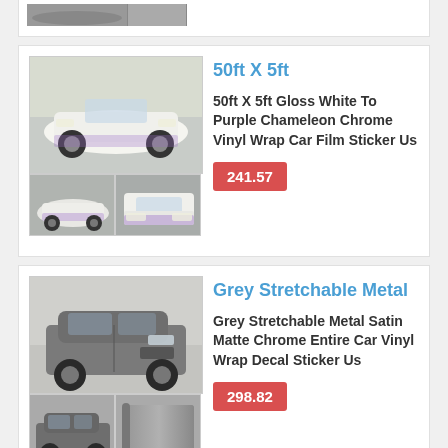[Figure (photo): Top stub showing partial car image from previous listing]
[Figure (photo): White/purple chameleon chrome car wrap product images - main image of white car and two thumbnail images]
50ft X 5ft
50ft X 5ft Gloss White To Purple Chameleon Chrome Vinyl Wrap Car Film Sticker Us
241.57
[Figure (photo): Grey stretchable metal satin matte chrome car wrap product images - main image of grey SUV and two thumbnail images]
Grey Stretchable Metal
Grey Stretchable Metal Satin Matte Chrome Entire Car Vinyl Wrap Decal Sticker Us
298.82